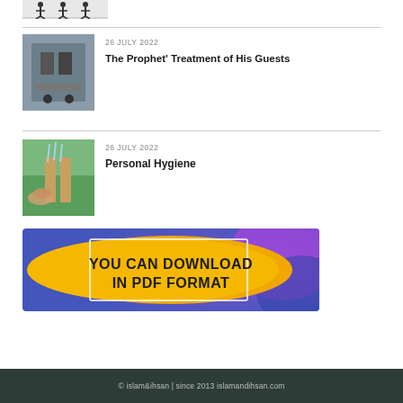[Figure (photo): Partial top image showing silhouette figures]
[Figure (photo): Photo of a mosque or Islamic site interior]
26 JULY 2022
The Prophet’ Treatment of His Guests
[Figure (photo): Photo of water/hands washing outdoors]
26 JULY 2022
Personal Hygiene
[Figure (illustration): Banner: YOU CAN DOWNLOAD IN PDF FORMAT on orange/purple background]
© islam&ihsan | since 2013 islamandihsan.com